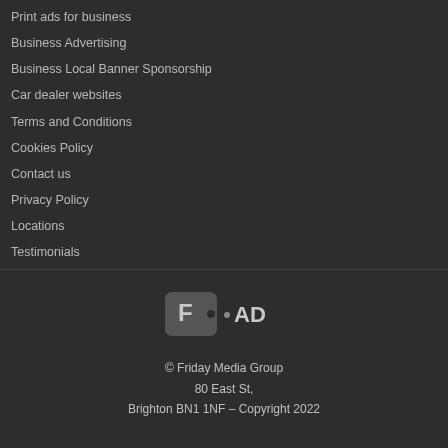Print ads for business
Business Advertising
Business Local Banner Sponsorship
Car dealer websites
Terms and Conditions
Cookies Policy
Contact us
Privacy Policy
Locations
Testimonials
[Figure (logo): FAD logo — a price tag shape with letter F followed by AD text]
© Friday Media Group
80 East St,
Brighton BN1 1NF – Copyright 2022